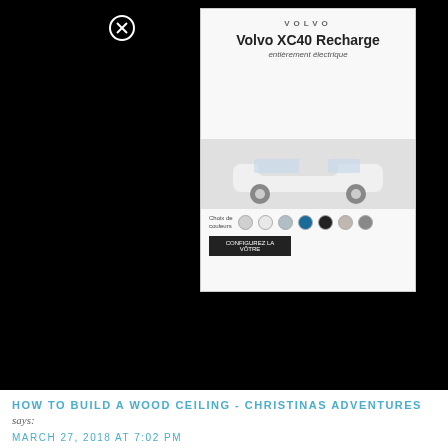[Figure (screenshot): Volvo XC40 Recharge advertisement showing a white SUV with color swatches and a call-to-action button, displayed on a black background with a close (X) button]
HOW TO BUILD A WOOD CEILING - CHRISTINAS ADVENTURES says:
MARCH 27, 2018 AT 7:02 PM
[...] post contains affiliate links – full disclosure here.Almost every time I post a picture of our kitchen on my Instagram, at least one person asks about my wood ceiling.  Here's our solution [...]